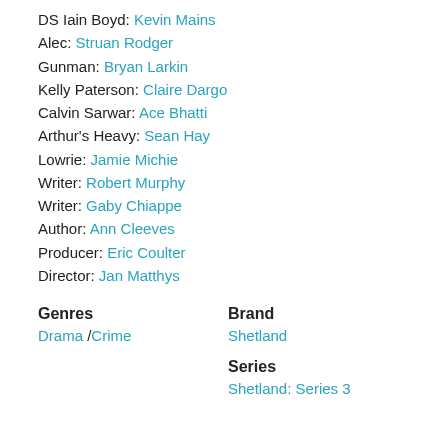DS Iain Boyd: Kevin Mains
Alec: Struan Rodger
Gunman: Bryan Larkin
Kelly Paterson: Claire Dargo
Calvin Sarwar: Ace Bhatti
Arthur's Heavy: Sean Hay
Lowrie: Jamie Michie
Writer: Robert Murphy
Writer: Gaby Chiappe
Author: Ann Cleeves
Producer: Eric Coulter
Director: Jan Matthys
Genres
Drama /Crime
Brand
Shetland
Series
Shetland: Series 3